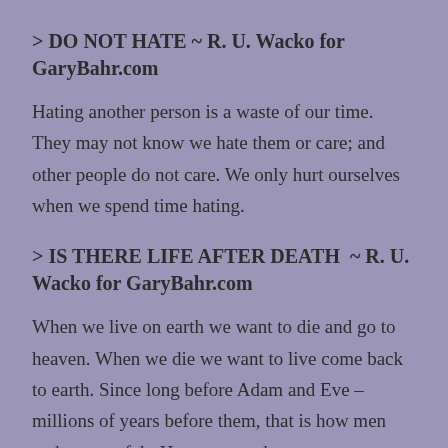> DO NOT HATE ~ R. U. Wacko for GaryBahr.com
Hating another person is a waste of our time. They may not know we hate them or care; and other people do not care. We only hurt ourselves when we spend time hating.
> IS THERE LIFE AFTER DEATH  ~ R. U. Wacko for GaryBahr.com
When we live on earth we want to die and go to heaven. When we die we want to live come back to earth. Since long before Adam and Eve – millions of years before them, that is how men and women felt. Heaven sounds